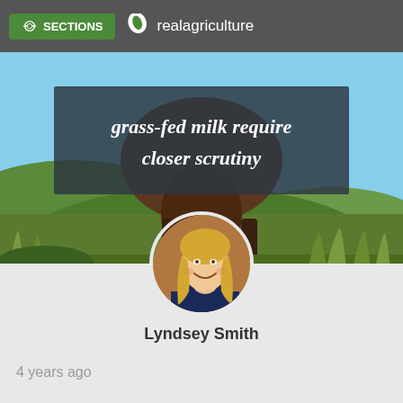SECTIONS | realagriculture
[Figure (photo): Hero image of a cow grazing in a green field with hills in background]
grass-fed milk require closer scrutiny
[Figure (photo): Circular author photo of Lyndsey Smith, a woman with blonde hair wearing a dark blue top]
Lyndsey Smith
4 years ago